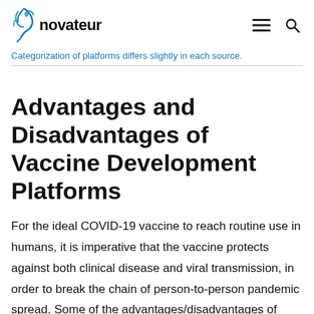novateur
Categorization of platforms differs slightly in each source.
Advantages and Disadvantages of Vaccine Development Platforms
For the ideal COVID-19 vaccine to reach routine use in humans, it is imperative that the vaccine protects against both clinical disease and viral transmission, in order to break the chain of person-to-person pandemic spread. Some of the advantages/disadvantages of each platform are